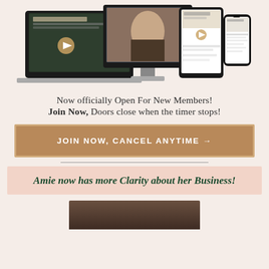[Figure (screenshot): Multiple device mockups (laptop, desktop monitor, tablet, smartphone) showing website/app screens on a light beige background]
Now officially Open For New Members!
Join Now, Doors close when the timer stops!
JOIN NOW, CANCEL ANYTIME →
Amie now has more Clarity about her Business!
[Figure (photo): Partial bottom crop of a person video thumbnail on dark background]